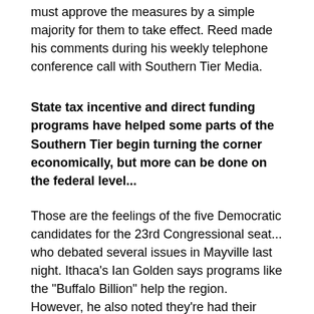must approve the measures by a simple majority for them to take effect.  Reed made his comments during his weekly telephone conference call with Southern Tier Media.
State tax incentive and direct funding programs have helped some parts of the Southern Tier begin turning the corner economically, but more can be done on the federal level...
Those are the feelings of the five Democratic candidates for the 23rd Congressional seat... who debated several issues in Mayville last night.  Ithaca's Ian Golden says programs like the "Buffalo Billion" help the region.  However, he also noted they're had their problems.
Golden says the state's help has been instrumental in bringing companies like Athenex, to the region's door in